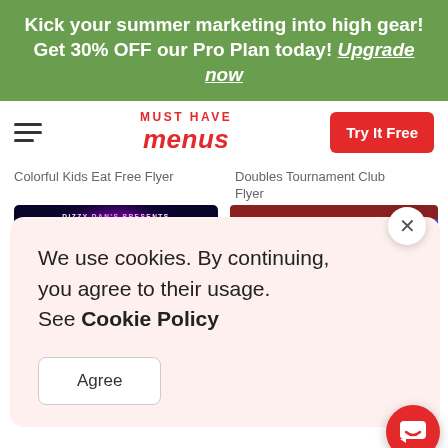Kick your summer marketing into high gear! Get 30% OFF our Pro Plan today! Upgrade now
[Figure (screenshot): MustHaveMenus website navigation bar with hamburger menu, red logo, and Try It Free button]
Colorful Kids Eat Free Flyer
Doubles Tournament Club Flyer
[Figure (screenshot): Electric Nightclub Flyer card with dark background and neon pink circle]
[Figure (screenshot): Blue Vision Group tournament flyer card]
We use cookies. By continuing, you agree to their usage. See Cookie Policy
Agree
Electric Nightclub Flyer